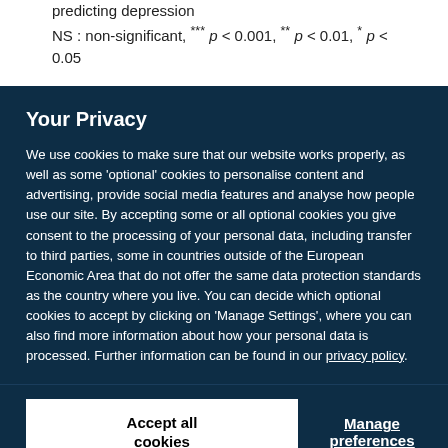predicting depression NS : non-significant, *** p < 0.001, ** p < 0.01, * p < 0.05
Your Privacy
We use cookies to make sure that our website works properly, as well as some 'optional' cookies to personalise content and advertising, provide social media features and analyse how people use our site. By accepting some or all optional cookies you give consent to the processing of your personal data, including transfer to third parties, some in countries outside of the European Economic Area that do not offer the same data protection standards as the country where you live. You can decide which optional cookies to accept by clicking on 'Manage Settings', where you can also find more information about how your personal data is processed. Further information can be found in our privacy policy.
Accept all cookies
Manage preferences